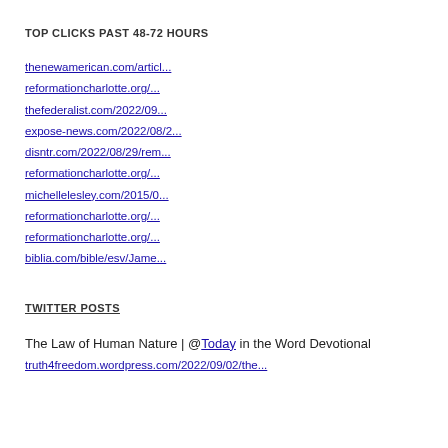TOP CLICKS PAST 48-72 HOURS
thenewamerican.com/articl...
reformationcharlotte.org/...
thefederalist.com/2022/09...
expose-news.com/2022/08/2...
disntr.com/2022/08/29/rem...
reformationcharlotte.org/...
michellelesley.com/2015/0...
reformationcharlotte.org/...
reformationcharlotte.org/...
biblia.com/bible/esv/Jame...
TWITTER POSTS
The Law of Human Nature | @Today in the Word Devotional
truth4freedom.wordpress.com/2022/09/02/the...